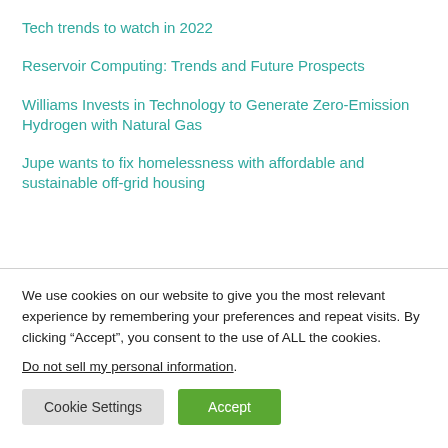Tech trends to watch in 2022
Reservoir Computing: Trends and Future Prospects
Williams Invests in Technology to Generate Zero-Emission Hydrogen with Natural Gas
Jupe wants to fix homelessness with affordable and sustainable off-grid housing
We use cookies on our website to give you the most relevant experience by remembering your preferences and repeat visits. By clicking “Accept”, you consent to the use of ALL the cookies.
Do not sell my personal information.
Cookie Settings | Accept